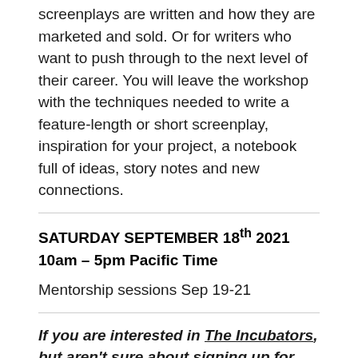screenplays are written and how they are marketed and sold. Or for writers who want to push through to the next level of their career. You will leave the workshop with the techniques needed to write a feature-length or short screenplay, inspiration for your project, a notebook full of ideas, story notes and new connections.
SATURDAY SEPTEMBER 18th 2021
10am – 5pm Pacific Time
Mentorship sessions Sep 19-21
If you are interested in The Incubators, but aren't sure about signing up for the full program just yet, this workshop is the perfect way to dip your toe in the water! If you purchase a single ticket for this workshop and later decide to attend the full program,